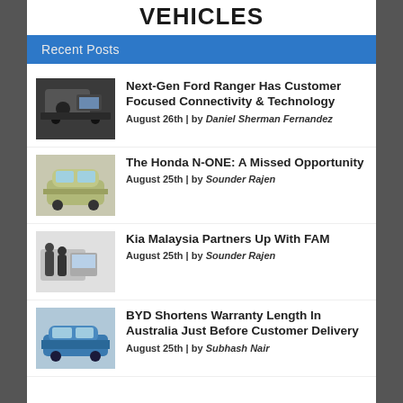VEHICLES
Recent Posts
[Figure (photo): Car interior dashboard thumbnail for Ford Ranger article]
Next-Gen Ford Ranger Has Customer Focused Connectivity & Technology
August 26th | by Daniel Sherman Fernandez
[Figure (photo): Honda N-ONE small car exterior thumbnail]
The Honda N-ONE: A Missed Opportunity
August 25th | by Sounder Rajen
[Figure (photo): Kia Malaysia FAM partnership event thumbnail]
Kia Malaysia Partners Up With FAM
August 25th | by Sounder Rajen
[Figure (photo): BYD blue car exterior thumbnail]
BYD Shortens Warranty Length In Australia Just Before Customer Delivery
August 25th | by Subhash Nair